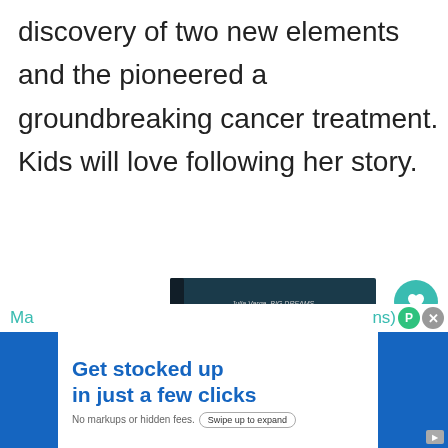discovery of two new elements and the pioneered a groundbreaking cancer treatment. Kids will love following her story.
[Figure (illustration): Book cover of 'Marie Curie' from the Little People, BIG DREAMS series by Julia Varga. Dark teal cover showing an illustrated young Marie Curie in a lab coat holding a glowing sphere, with snowflakes and chemistry equipment around her.]
Ma ... ns)
Get stocked up in just a few clicks
No markups or hidden fees. Swipe up to expand